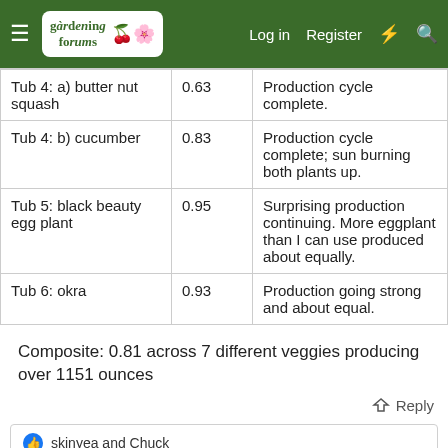gardening forums | Log in | Register
|  |  |  |
| --- | --- | --- |
| Tub 4: a) butter nut squash | 0.63 | Production cycle complete. |
| Tub 4: b) cucumber | 0.83 | Production cycle complete; sun burning both plants up. |
| Tub 5: black beauty egg plant | 0.95 | Surprising production continuing. More eggplant than I can use produced about equally. |
| Tub 6: okra | 0.93 | Production going strong and about equal. |
Composite: 0.81 across 7 different veggies producing over 1151 ounces
Reply
skinyea and Chuck